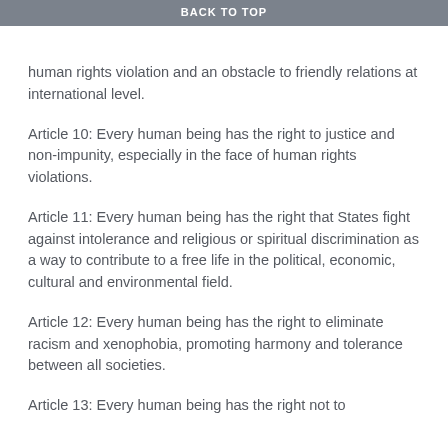BACK TO TOP
Article 9: Every human being has the right that state justice judges the religious or spiritual discrimination as a human rights violation and an obstacle to friendly relations at international level.
Article 10: Every human being has the right to justice and non-impunity, especially in the face of human rights violations.
Article 11: Every human being has the right that States fight against intolerance and religious or spiritual discrimination as a way to contribute to a free life in the political, economic, cultural and environmental field.
Article 12: Every human being has the right to eliminate racism and xenophobia, promoting harmony and tolerance between all societies.
Article 13: Every human being has the right not to